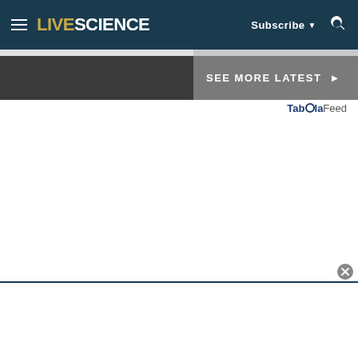LIVESCIENCE — Subscribe — Search
SEE MORE LATEST ▶
Taboola Feed
[Figure (other): Advertisement banner at the bottom of the page with a close button (X)]